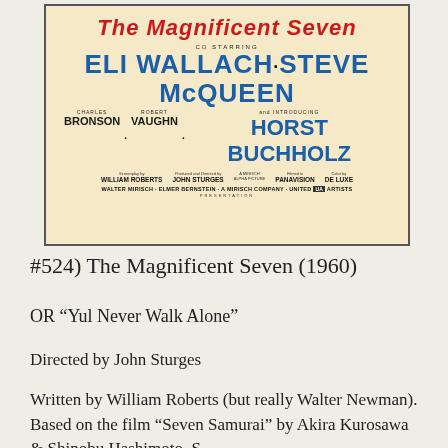[Figure (photo): Movie poster for The Magnificent Seven (1960) showing cast credits including Eli Wallach, Steve McQueen, Charles Bronson, Robert Vaughn, Horst Buchholz, directed by John Sturges, screenplay by William Roberts, produced by United Artists.]
#524) The Magnificent Seven (1960)
OR “Yul Never Walk Alone”
Directed by John Sturges
Written by William Roberts (but really Walter Newman). Based on the film “Seven Samurai” by Akira Kurosawa & Shinobu Hashimoto. S